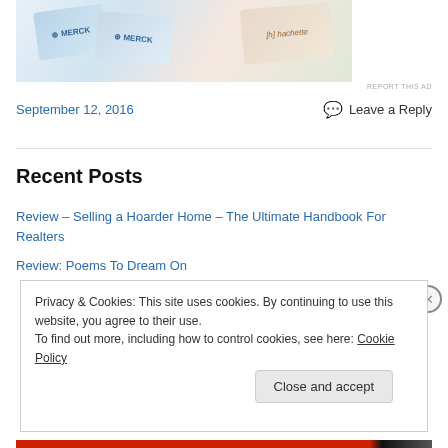[Figure (photo): Partial view of an advertisement showing book/product covers including Merck and Hachette branded items arranged diagonally on a light background.]
REPORT THIS AD
September 12, 2016
Leave a Reply
Recent Posts
Review – Selling a Hoarder Home – The Ultimate Handbook For Realters
Review: Poems To Dream On
Privacy & Cookies: This site uses cookies. By continuing to use this website, you agree to their use.
To find out more, including how to control cookies, see here: Cookie Policy
Close and accept